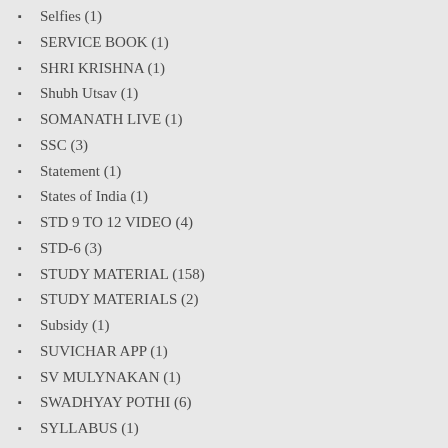Selfies (1)
SERVICE BOOK (1)
SHRI KRISHNA (1)
Shubh Utsav (1)
SOMANATH LIVE (1)
SSC (3)
Statement (1)
States of India (1)
STD 9 TO 12 VIDEO (4)
STD-6 (3)
STUDY MATERIAL (158)
STUDY MATERIALS (2)
Subsidy (1)
SUVICHAR APP (1)
SV MULYNAKAN (1)
SWADHYAY POTHI (6)
SYLLABUS (1)